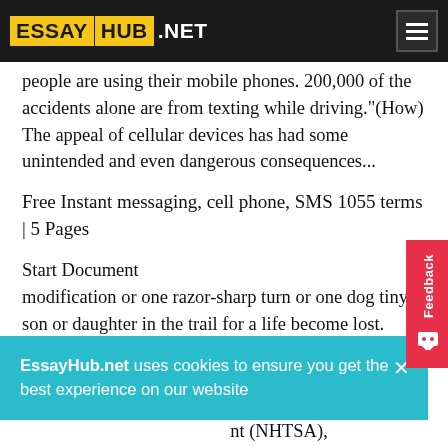ESSAYHUB.NET
people are using their mobile phones. 200,000 of the accidents alone are from texting while driving."(How) The appeal of cellular devices has had some unintended and even dangerous consequences...
Free Instant messaging, cell phone, SMS 1055 terms | 5 Pages
Start Document
modification or one razor-sharp turn or one dog tiny son or daughter in the trail for a life become lost. Speeding is an issue in 31 percent of most deadly crashes, killing typically 1,000 People in america every month, based on the nationwide nt (NHTSA), of speed- every year.
Speeding is a problem not just on freeways, but
EssayHub.net uses cookies to ensure you get the best experience on our website